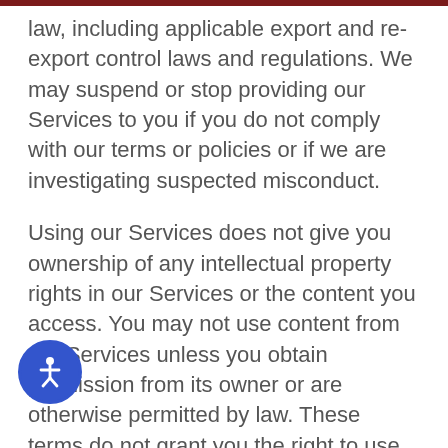law, including applicable export and re-export control laws and regulations. We may suspend or stop providing our Services to you if you do not comply with our terms or policies or if we are investigating suspected misconduct.
Using our Services does not give you ownership of any intellectual property rights in our Services or the content you access. You may not use content from our Services unless you obtain permission from its owner or are otherwise permitted by law. These terms do not grant you the right to use any branding or logos used in our Services. Don’t remove, obscure, or alter any legal notices displayed in or along with our Services.
Our Services display some content that is not Your ng Center’s. This content is the sole responsibility of the entity that makes it available. We may review